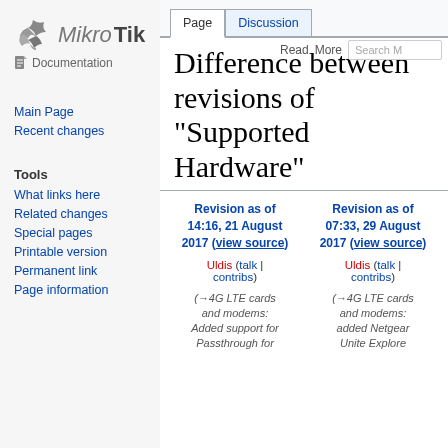[Figure (logo): MikroTik Documentation logo with stylized MikroTik text and book icon]
Main Page
Recent changes
Tools
What links here
Related changes
Special pages
Printable version
Permanent link
Page information
Difference between revisions of "Supported Hardware"
| Revision as of 14:16, 21 August 2017 (view source) | Revision as of 07:33, 29 August 2017 (view source) |
| --- | --- |
| Uldis (talk | contribs) | Uldis (talk | contribs) |
| (→4G LTE cards and modems: Added support for Passthrough for | (→4G LTE cards and modems: added Netgear Unite Explore |